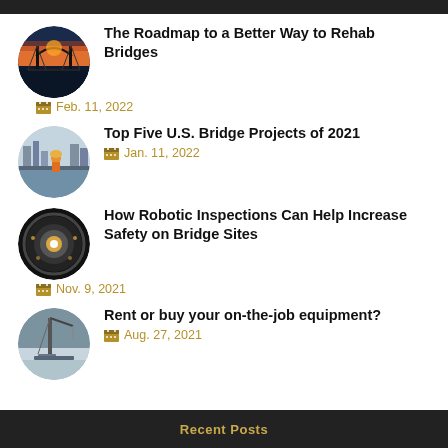The Roadmap to a Better Way to Rehab Bridges
Feb. 11, 2022
Top Five U.S. Bridge Projects of 2021
Jan. 11, 2022
How Robotic Inspections Can Help Increase Safety on Bridge Sites
Nov. 9, 2021
Rent or buy your on-the-job equipment?
Aug. 27, 2021
Recent Posts